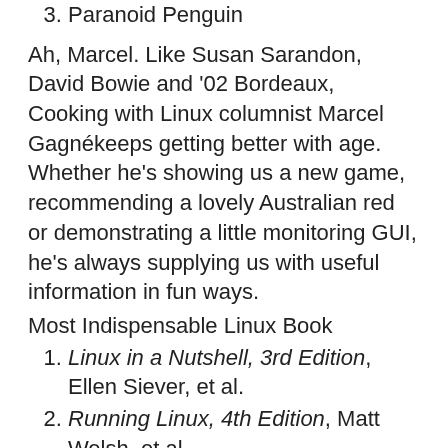3. Paranoid Penguin
Ah, Marcel. Like Susan Sarandon, David Bowie and '02 Bordeaux, Cooking with Linux columnist Marcel Gagnékeeps getting better with age. Whether he's showing us a new game, recommending a lovely Australian red or demonstrating a little monitoring GUI, he's always supplying us with useful information in fun ways.
Most Indispensable Linux Book
1. Linux in a Nutshell, 3rd Edition, Ellen Siever, et al.
2. Running Linux, 4th Edition, Matt Welsh, et al.
3. Advanced UNIX Programming, 2nd Edition, Marc Rochkind
I was beginning to think I'd never see a new title in the top three spots in the book category—just